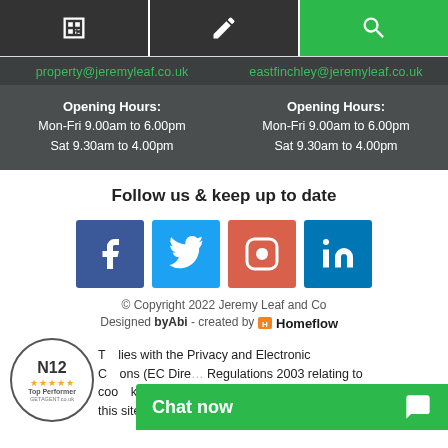[Figure (infographic): Three navigation buttons: calculator icon (dark), edit/pencil icon (dark), search/magnifying glass icon (green)]
property@jeremyleaf.co.uk   eastfinchley@jeremyleaf.co.uk
Opening Hours:
Mon-Fri 9.00am to 6.00pm
Sat 9.30am to 4.00pm

Opening Hours:
Mon-Fri 9.00am to 6.00pm
Sat 9.30am to 4.00pm
Follow us & keep up to date
[Figure (infographic): Four social media icons: Facebook (blue), Twitter (light blue), Instagram (salmon/red), LinkedIn (blue)]
© Copyright 2022 Jeremy Leaf and Co
Designed byAbi - created by Homeflow
[Figure (logo): N12 Top Performer badge from GetAgent.co.uk with 5 stars]
This site complies with the Privacy and Electronic Communications (EC Directive) Regulations 2003 relating to cookies. Click here to find out more about cookies on this site.
Chat now